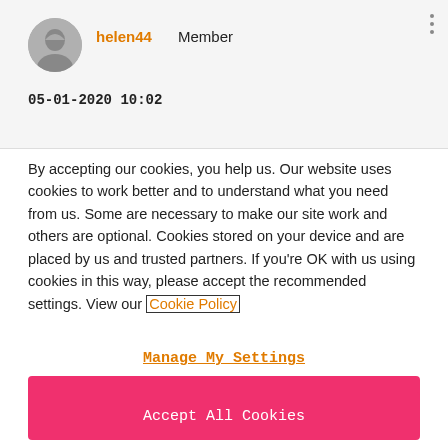[Figure (photo): Circular avatar photo of a woman with short hair, grayscale]
helen44 Member
05-01-2020 10:02
By accepting our cookies, you help us. Our website uses cookies to work better and to understand what you need from us. Some are necessary to make our site work and others are optional. Cookies stored on your device and are placed by us and trusted partners. If you're OK with us using cookies in this way, please accept the recommended settings. View our Cookie Policy
Manage My Settings
Reject All
Accept All Cookies